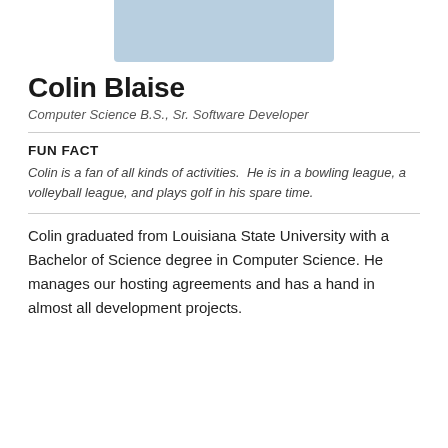[Figure (photo): Partial photo of Colin Blaise, showing lower portion of face/neck area, man wearing light blue shirt]
Colin Blaise
Computer Science B.S., Sr. Software Developer
FUN FACT
Colin is a fan of all kinds of activities.  He is in a bowling league, a volleyball league, and plays golf in his spare time.
Colin graduated from Louisiana State University with a Bachelor of Science degree in Computer Science. He manages our hosting agreements and has a hand in almost all development projects.